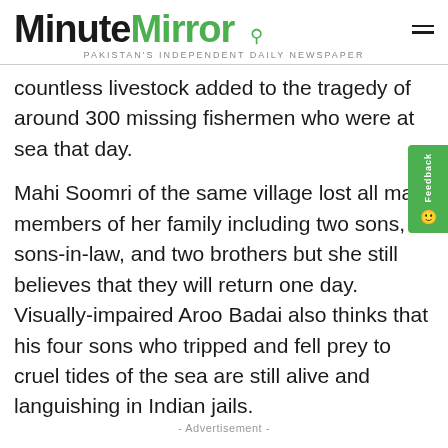MinuteMirror — PAKISTAN'S INDEPENDENT DAILY NEWSPAPER
countless livestock added to the tragedy of around 300 missing fishermen who were at sea that day.
Mahi Soomri of the same village lost all male members of her family including two sons, sons-in-law, and two brothers but she still believes that they will return one day. Visually-impaired Aroo Badai also thinks that his four sons who tripped and fell prey to cruel tides of the sea are still alive and languishing in Indian jails.
- Advertisement -